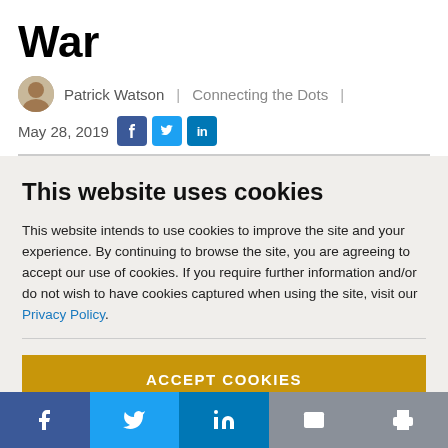War
Patrick Watson | Connecting the Dots | May 28, 2019
This website uses cookies
This website intends to use cookies to improve the site and your experience. By continuing to browse the site, you are agreeing to accept our use of cookies. If you require further information and/or do not wish to have cookies captured when using the site, visit our Privacy Policy.
ACCEPT COOKIES